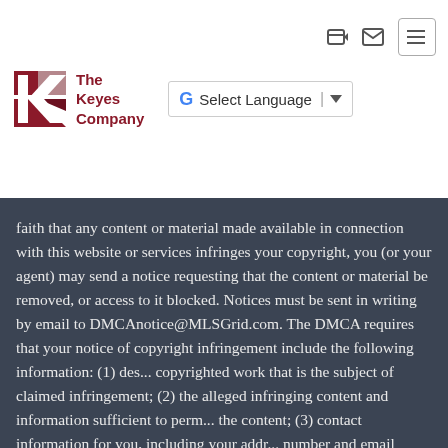[Figure (logo): The Keyes Company logo with red K graphic and company name]
Select Language
faith that any content or material made available in connection with this website or services infringes your copyright, you (or your agent) may send a notice requesting that the content or material be removed, or access to it blocked. Notices must be sent in writing by email to DMCAnotice@MLSGrid.com. The DMCA requires that your notice of copyright infringement include the following information: (1) description of the copyrighted work that is the subject of claimed infringement; (2) description of the alleged infringing content and information sufficient to permit us to locate the content; (3) contact information for you, including your address, telephone number and email address; (4) a statement by you that you have a good faith belief that the content in the manner complained of is not authorized by the copyright owner, or its agent, or by the operation of any law; (5) a statement by you, signed under penalty of perjury, that the information in the